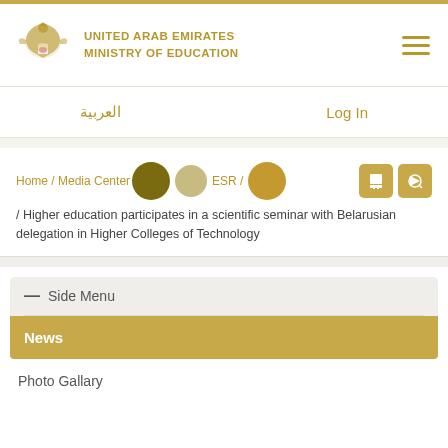UNITED ARAB EMIRATES MINISTRY OF EDUCATION
العربية    Log In
Home / Media Center / Archive / ESR / Higher education participates in a scientific seminar with Belarusian delegation in Higher Colleges of Technology
— Side Menu
News
Photo Gallary